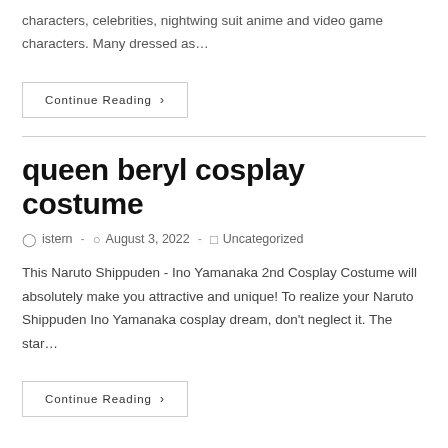characters, celebrities, nightwing suit anime and video game characters. Many dressed as…
Continue Reading ›
queen beryl cosplay costume
istern · August 3, 2022 · Uncategorized
This Naruto Shippuden - Ino Yamanaka 2nd Cosplay Costume will absolutely make you attractive and unique! To realize your Naruto Shippuden Ino Yamanaka cosplay dream, don't neglect it. The star…
Continue Reading ›